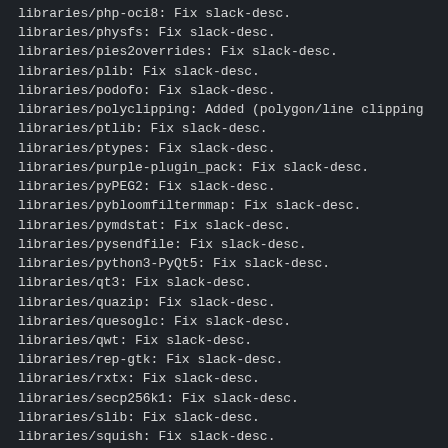libraries/php-oci8: Fix slack-desc.
libraries/physfs: Fix slack-desc.
libraries/pies2overrides: Fix slack-desc.
libraries/plib: Fix slack-desc.
libraries/podofo: Fix slack-desc.
libraries/polyclipping: Added (polygon/line clipping …
libraries/ptlib: Fix slack-desc.
libraries/ptypes: Fix slack-desc.
libraries/purple-plugin_pack: Fix slack-desc.
libraries/pyPEG2: Fix slack-desc.
libraries/pybloomfiltermmap: Fix slack-desc.
libraries/pymdstat: Fix slack-desc.
libraries/pysendfile: Fix slack-desc.
libraries/python3-PyQt5: Fix slack-desc.
libraries/qt3: Fix slack-desc.
libraries/quazip: Fix slack-desc.
libraries/quesoglc: Fix slack-desc.
libraries/qwt: Fix slack-desc.
libraries/rep-gtk: Fix slack-desc.
libraries/rxtx: Fix slack-desc.
libraries/secp256k1: Fix slack-desc.
libraries/slib: Fix slack-desc.
libraries/squish: Fix slack-desc.
libraries/stfl: Fix slack-desc.
libraries/stk: Fix slack-desc.
libraries/swfdec: Fix slack-desc.
libraries/tkimg: Fix slack-desc.
libraries/tls: Fix slack-desc.
libraries/tolua++: Fix slack-desc.
libraries/tre: Fix slack-desc.